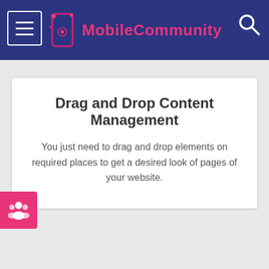MobileCommunity
Drag and Drop Content Management
You just need to drag and drop elements on required places to get a desired look of pages of your website.
[Figure (illustration): Pink floating button with a community/people icon]